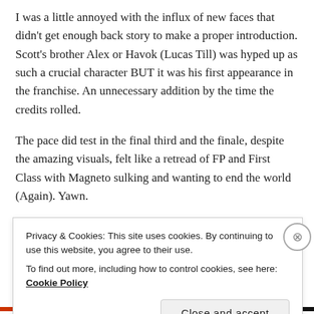I was a little annoyed with the influx of new faces that didn't get enough back story to make a proper introduction. Scott's brother Alex or Havok (Lucas Till) was hyped up as such a crucial character BUT it was his first appearance in the franchise. An unnecessary addition by the time the credits rolled.
The pace did test in the final third and the finale, despite the amazing visuals, felt like a retread of FP and First Class with Magneto sulking and wanting to end the world (Again). Yawn.
It might help to have watched the other entries to
Privacy & Cookies: This site uses cookies. By continuing to use this website, you agree to their use.
To find out more, including how to control cookies, see here: Cookie Policy